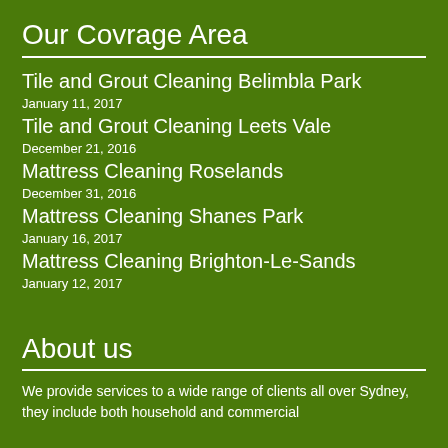Our Covrage Area
Tile and Grout Cleaning Belimbla Park
January 11, 2017
Tile and Grout Cleaning Leets Vale
December 21, 2016
Mattress Cleaning Roselands
December 31, 2016
Mattress Cleaning Shanes Park
January 16, 2017
Mattress Cleaning Brighton-Le-Sands
January 12, 2017
About us
We provide services to a wide range of clients all over Sydney, they include both household and commercial